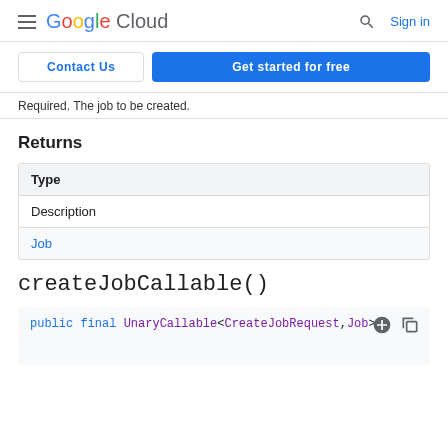Google Cloud  Sign in
Contact Us  Get started for free
Required. The job to be created.
Returns
| Type |
| --- |
| Description |
| Job |
createJobCallable()
public final UnaryCallable<CreateJobRequest,Job>